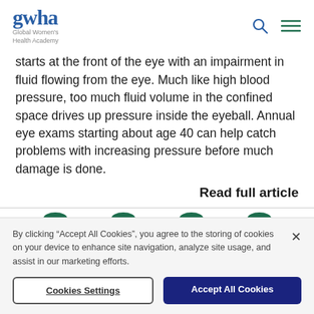gwha Global Women's Health Academy
starts at the front of the eye with an impairment in fluid flowing from the eye. Much like high blood pressure, too much fluid volume in the confined space drives up pressure inside the eyeball. Annual eye exams starting about age 40 can help catch problems with increasing pressure before much damage is done.
Read full article
By clicking “Accept All Cookies”, you agree to the storing of cookies on your device to enhance site navigation, analyze site usage, and assist in our marketing efforts.
Cookies Settings | Accept All Cookies